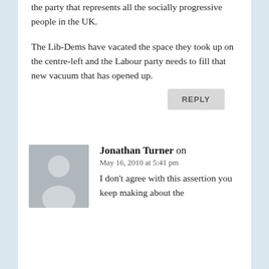the party that represents all the socially progressive people in the UK.
The Lib-Dems have vacated the space they took up on the centre-left and the Labour party needs to fill that new vacuum that has opened up.
REPLY
Jonathan Turner on
May 16, 2010 at 5:41 pm
I don't agree with this assertion you keep making about the